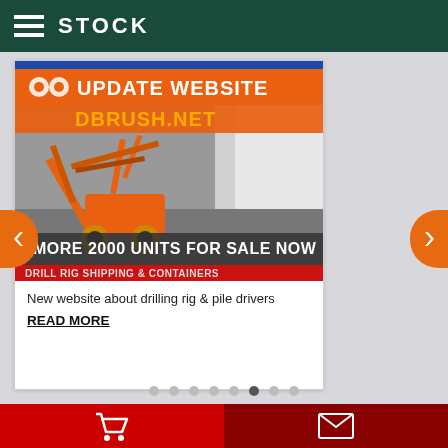STOCK
[Figure (screenshot): Advertisement banner for dbrush.net showing a drilling rig / pile driver machine in a warehouse, with text: UPDATE WEBSITE DBRUSH.NET | MORE 2000 UNITS FOR SALE NOW]
New website about drilling rig & pile drivers
READ MORE
MANUFACTURERS: HOWO | SINOTRUK | FOTON | HAITAI